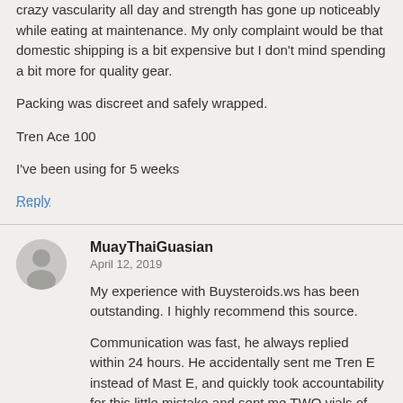crazy vascularity all day and strength has gone up noticeably while eating at maintenance. My only complaint would be that domestic shipping is a bit expensive but I don't mind spending a bit more for quality gear.
Packing was discreet and safely wrapped.
Tren Ace 100
I've been using for 5 weeks
Reply
MuayThaiGuasian
April 12, 2019
My experience with Buysteroids.ws has been outstanding. I highly recommend this source.
Communication was fast, he always replied within 24 hours. He accidentally sent me Tren E instead of Mast E, and quickly took accountability for this little mistake and sent me TWO vials of Masteron E. Doesn't get any better than this stellar customer